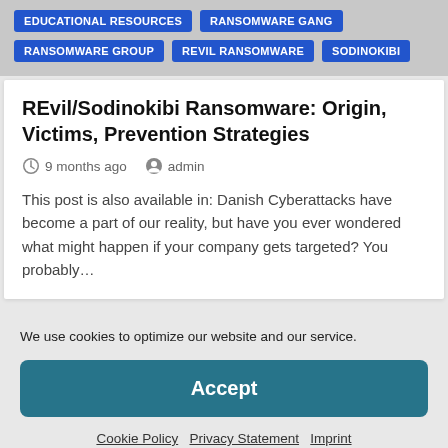EDUCATIONAL RESOURCES
RANSOMWARE GANG
RANSOMWARE GROUP
REVIL RANSOMWARE
SODINOKIBI
REvil/Sodinokibi Ransomware: Origin, Victims, Prevention Strategies
9 months ago   admin
This post is also available in: Danish Cyberattacks have become a part of our reality, but have you ever wondered what might happen if your company gets targeted? You probably…
We use cookies to optimize our website and our service.
Accept
Cookie Policy   Privacy Statement   Imprint